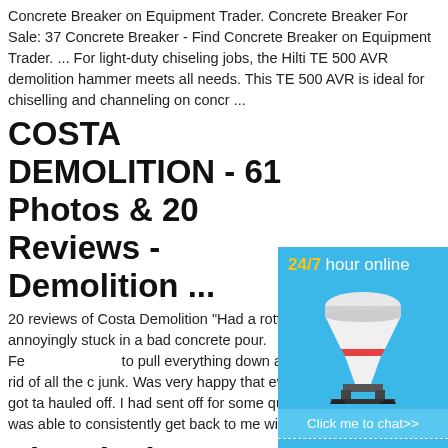Concrete Breaker on Equipment Trader. Concrete Breaker For Sale: 37 Concrete Breaker - Find Concrete Breaker on Equipment Trader. ... For light-duty chiseling jobs, the Hilti TE 500 AVR demolition hammer meets all needs. This TE 500 AVR is ideal for chiselling and channeling on concr ...
COSTA DEMOLITION - 61 Photos & 20 Reviews - Demolition ...
20 reviews of Costa Demolition "Had a rotte annoyingly stuck in a bad concrete pour. Fe to pull everything down and get rid of all the c junk. Was very happy that everything got ta hauled off. I had sent off for some quotes, a was able to consistently get back to me with
[Figure (infographic): Chat widget with '24/7 hour online' text in yellow and white, an image of a cone crusher machine, a 'Click me to chat>>' button, an 'Enquiry' section separated by dashed borders, and 'limingjlmofen' text at the bottom. Blue background throughout.]
Electrical Demolition Br Construction Equipmer
Makita Electric Breaker HM1802. R 37,950 K-007. Demolition Breakers. MAC AERIC 28